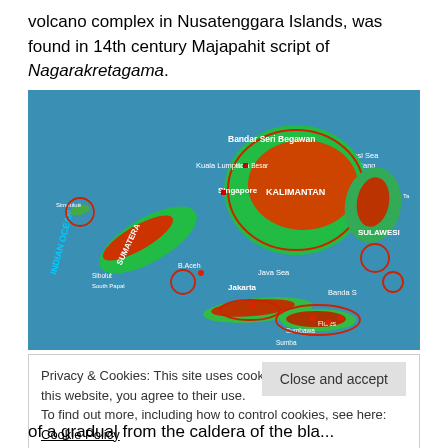volcano complex in Nusatenggara Islands, was found in 14th century Majapahit script of Nagarakretagama.
[Figure (map): Satellite/topographic map of Southeast Asia showing Indonesia, Malaysia, Borneo (Kalimantan), Sulawesi, Sumatra, and surrounding seas (Indian Ocean, Sulawesi Sea, Banda Sea, Java Sea). Red circles indicate volcano locations. Cities labeled include Bandar Seri Begawan, Kuala Lumpur, Kota Besar, Singapore, Jakarta, and others. Key regions labeled: SUMATERA, KALIMANTAN, SULAWESI. Sumbawa, Flores, Sumba also visible.]
Privacy & Cookies: This site uses cookies. By continuing to use this website, you agree to their use.
To find out more, including how to control cookies, see here: Cookie Policy
Close and accept
of a gradual from the caldera of the bla...